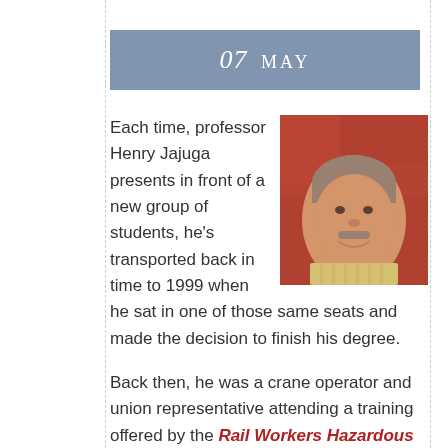07 MAY
[Figure (photo): Headshot of professor Henry Jajuga, a middle-aged man with gray-brown hair, smiling, with a colorful background of foliage.]
Each time, professor Henry Jajuga presents in front of a new group of students, he’s transported back in time to 1999 when he sat in one of those same seats and made the decision to finish his degree.
Back then, he was a crane operator and union representative attending a training offered by the Rail Workers Hazardous Material Training Program